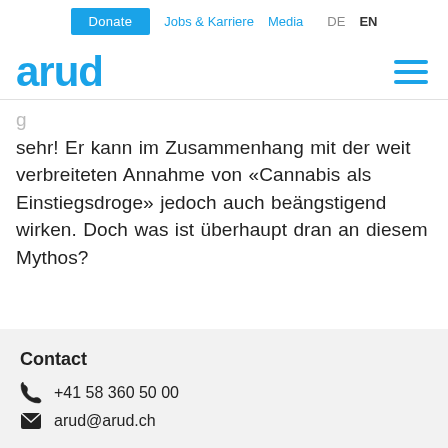Donate  Jobs & Karriere  Media  DE  EN
arud
sehr! Er kann im Zusammenhang mit der weit verbreiteten Annahme von «Cannabis als Einstiegsdroge» jedoch auch beängstigend wirken. Doch was ist überhaupt dran an diesem Mythos?
Contact
+41 58 360 50 00
arud@arud.ch